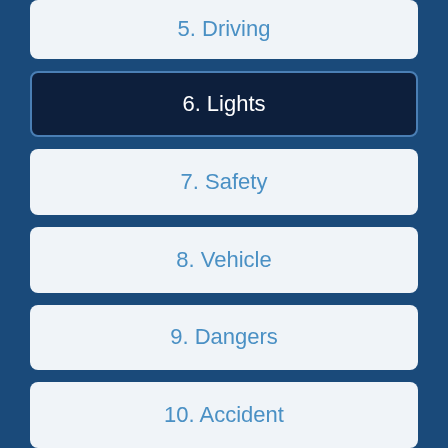5. Driving
6. Lights
7. Safety
8. Vehicle
9. Dangers
10. Accident